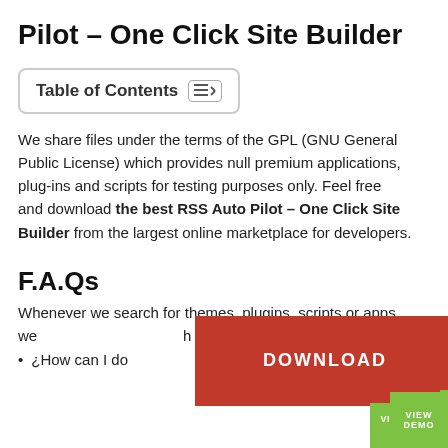Pilot – One Click Site Builder
Table of Contents
We share files under the terms of the GPL (GNU General Public License) which provides null premium applications, plug-ins and scripts for testing purposes only. Feel free and download the best RSS Auto Pilot – One Click Site Builder from the largest online marketplace for developers.
F.A.Qs
Whenever we search for themes, plugins, scripts or apps, we ... such as the following:
¿How can I do ... Pilot – One Click
[Figure (other): Red DOWNLOAD button overlay]
[Figure (other): Green VIEW DEMO button overlay]